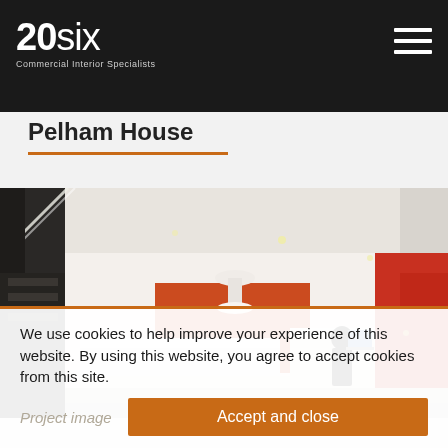20six Commercial Interior Specialists
Pelham House
[Figure (photo): Interior photograph of a modern commercial office reception area with white reception desks, red accent walls, recessed lighting, and a person seated at a workstation with a laptop.]
We use cookies to help improve your experience of this website. By using this website, you agree to accept cookies from this site.
Project image
Accept and close